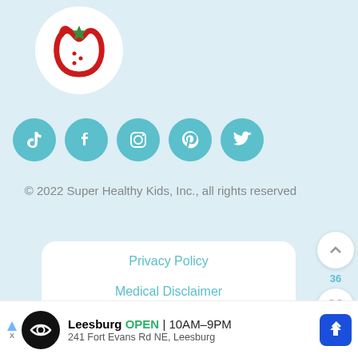[Figure (logo): Super Healthy Kids strawberry logo in a white circle]
[Figure (infographic): Row of 5 teal social media icon circles: TikTok, Facebook, Instagram, Pinterest, Twitter]
© 2022 Super Healthy Kids, Inc., all rights reserved
Privacy Policy
Medical Disclaimer
Technical Disclaimer
[Figure (infographic): Side panel with up-arrow button, 36 count, heart button, and teal search button]
[Figure (infographic): Ad bar: Leesburg OPEN 10AM–9PM, 241 Fort Evans Rd NE, Leesburg with navigation arrow]